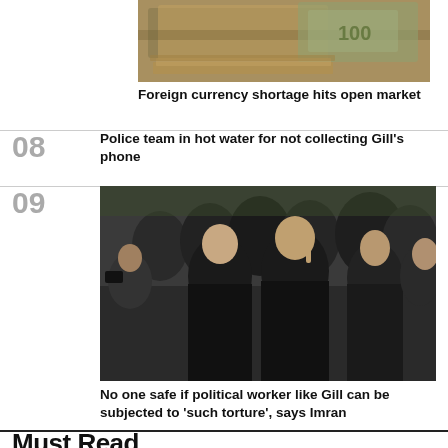[Figure (photo): Stack of Pakistani currency banknotes, foreign currency]
Foreign currency shortage hits open market
Police team in hot water for not collecting Gill's phone
[Figure (photo): Imran Khan in black attire raising finger, surrounded by crowd of supporters]
No one safe if political worker like Gill can be subjected to 'such torture', says Imran
Must Read